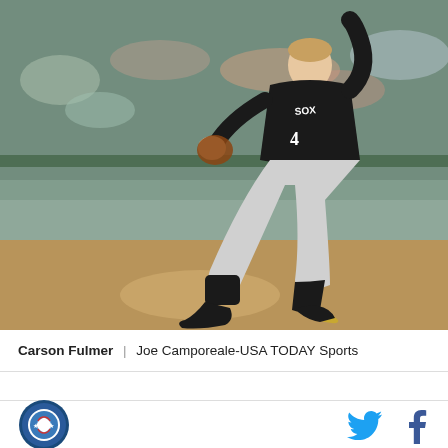[Figure (photo): Carson Fulmer, a baseball pitcher wearing a black Chicago White Sox uniform and grey pants, mid-pitch delivery on the mound. Blurred stadium crowd visible in background.]
Carson Fulmer  |  Joe Camporeale-USA TODAY Sports
[Figure (logo): Circular sports league logo with baseball and blue/green colors]
[Figure (other): Twitter bird social media icon in blue]
[Figure (other): Facebook 'f' social media icon in dark blue]